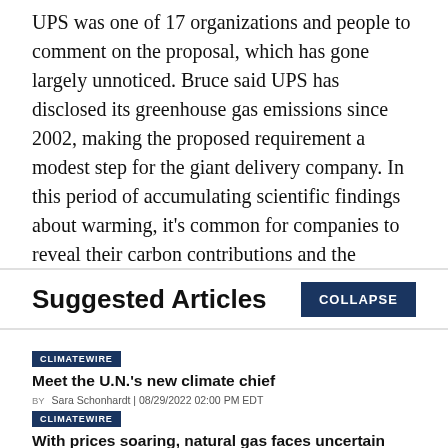UPS was one of 17 organizations and people to comment on the proposal, which has gone largely unnoticed. Bruce said UPS has disclosed its greenhouse gas emissions since 2002, making the proposed requirement a modest step for the giant delivery company. In this period of accumulating scientific findings about warming, it's common for companies to reveal their carbon contributions and the strategies to address them, Bruce said.
Suggested Articles
COLLAPSE
CLIMATEWIRE
Meet the U.N.'s new climate chief
BY Sara Schonhardt | 08/29/2022 02:00 PM EDT
Read More >>
CLIMATEWIRE
With prices soaring, natural gas faces uncertain future